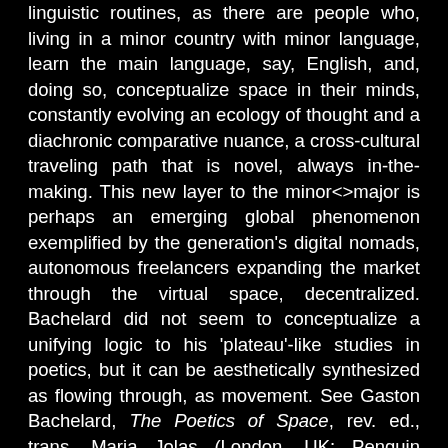linguistic routines, as there are people who, living in a minor country with minor language, learn the main language, say, English, and, doing so, conceptualize space in their minds, constantly evolving an ecology of thought and a diachronic comparative nuance, a cross-cultural traveling path that is novel, always in-the-making. This new layer to the minor<>major is perhaps an emerging global phenomenon exemplified by the generation's digital nomads, autonomous freelancers expanding the market through the virtual space, decentralized. Bachelard did not seem to conceptualize a unifying logic to his 'plateau'-like studies in poetics, but it can be aesthetically synthesized as flowing through, as movement. See Gaston Bachelard, The Poetics of Space, rev. ed., trans. Maria Jolas (London, UK: Penguin Books, October 15, 2015).
[33] In the Hegelian sense, see Johann Fichte, Early Philosophical Writings, trans. Daniel Breazeale, (Cornell